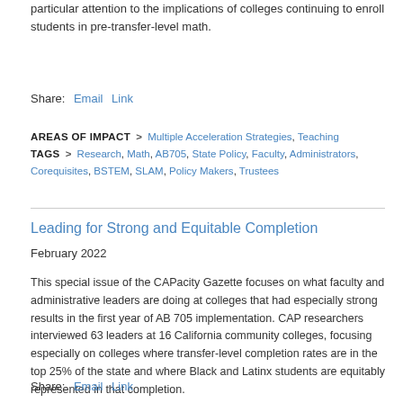particular attention to the implications of colleges continuing to enroll students in pre-transfer-level math.
Share: Email  Link
AREAS OF IMPACT > Multiple Acceleration Strategies, Teaching
TAGS > Research, Math, AB705, State Policy, Faculty, Administrators, Corequisites, BSTEM, SLAM, Policy Makers, Trustees
Leading for Strong and Equitable Completion
February 2022
This special issue of the CAPacity Gazette focuses on what faculty and administrative leaders are doing at colleges that had especially strong results in the first year of AB 705 implementation. CAP researchers interviewed 63 leaders at 16 California community colleges, focusing especially on colleges where transfer-level completion rates are in the top 25% of the state and where Black and Latinx students are equitably represented in that completion.
Share: Email  Link